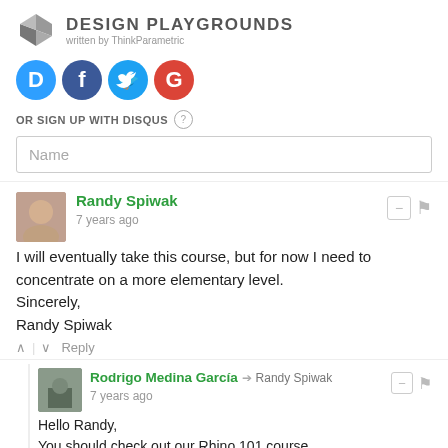[Figure (logo): Design Playgrounds logo with geometric arrow icon and text 'DESIGN PLAYGROUNDS written by ThinkParametric']
[Figure (infographic): Four social login icons: Disqus (D, blue), Facebook (f, dark blue), Twitter (bird, light blue), Google (G, red)]
OR SIGN UP WITH DISQUS ?
Name
Randy Spiwak
7 years ago
I will eventually take this course, but for now I need to concentrate on a more elementary level.
Sincerely,
Randy Spiwak
Reply
Rodrigo Medina García → Randy Spiwak
7 years ago
Hello Randy,
You should check out our Rhino 101 course.